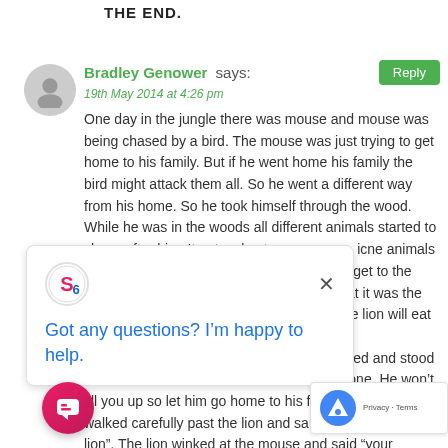THE END.
Bradley Genower says:
19th May 2014 at 4:26 pm
One day in the jungle there was mouse and mouse was being chased by a bird. The mouse was just trying to get home to his family. But if he went home his family the bird might attack them all. So he went a different way from his home. So he took himself through the wood. While he was in the woods all different animals started to chase after him. It got so hectic the animals stared to push each other out of the way to get to the mouse. All of a sudden the mouse knew that it was the lion. The mouse thought “oh no, I’m sure the lion will eat me”. Suddenly all of the other animals that were chasing the mouse stopped and stood still. The lion said “leave this little mouse alone. He won’t fill you up so let him go home to his family”. The mouse walked carefully past the lion and said “thank you mr lion”. The lion winked at the mouse and said “your welcome little mouse, but choose a safer
Got any questions? I’m happy to help.